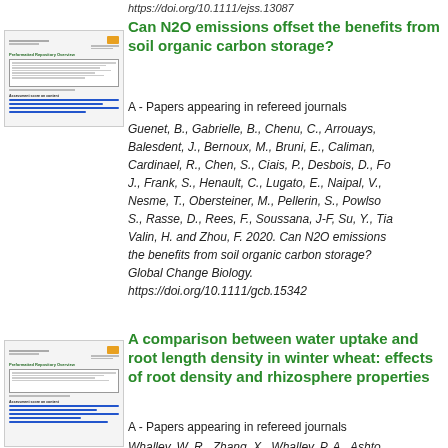https://doi.org/10.1111/ejss.13087
[Figure (screenshot): Thumbnail of academic paper page showing header, abstract box, and blue underlined links]
Can N2O emissions offset the benefits from soil organic carbon storage?
A - Papers appearing in refereed journals
Guenet, B., Gabrielle, B., Chenu, C., Arrouays, D., Balesdent, J., Bernoux, M., Bruni, E., Caliman, A., Cardinael, R., Chen, S., Ciais, P., Desbois, D., Fo... J., Frank, S., Henault, C., Lugato, E., Naipal, V., Nesme, T., Obersteiner, M., Pellerin, S., Powlson, S., Rasse, D., Rees, F., Soussana, J-F, Su, Y., Tian... Valin, H. and Zhou, F. 2020. Can N2O emissions... the benefits from soil organic carbon storage?... Global Change Biology. https://doi.org/10.1111/gcb.15342
[Figure (screenshot): Thumbnail of second academic paper page showing header, abstract box, and blue underlined links]
A comparison between water uptake and root length density in winter wheat: effects of root density and rhizosphere properties
A - Papers appearing in refereed journals
Whalley, W. R., Zhang, X., Whalley, P. A., Ashton...